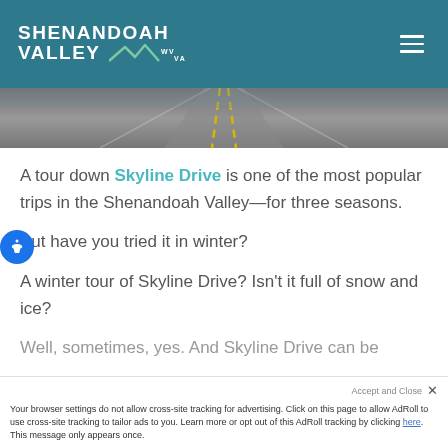SHENANDOAH VALLEY WV VA
[Figure (photo): Aerial view of a road/highway surface with yellow center lines, shot from close to the pavement looking into the distance.]
A tour down Skyline Drive is one of the most popular trips in the Shenandoah Valley—for three seasons.
But have you tried it in winter?
A winter tour of Skyline Drive? Isn't it full of snow and ice?
Well, sometimes, yes. And Skyline Drive can be
Your browser settings do not allow cross-site tracking for advertising. Click on this page to allow AdRoll to use cross-site tracking to tailor ads to you. Learn more or opt out of this AdRoll tracking by clicking here. This message only appears once.